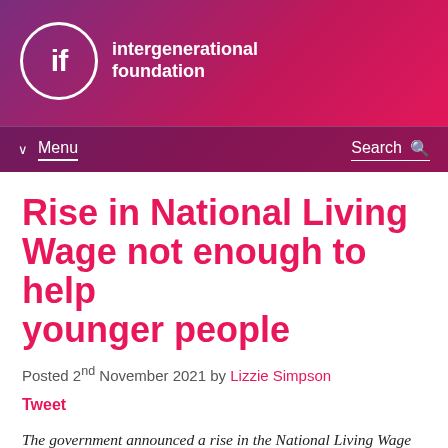[Figure (logo): Intergenerational Foundation logo: white circle with 'if' text and organization name 'intergenerational foundation' on a pink-to-purple gradient header background]
Menu   Search
Rise in National Living Wage not enough to help younger people
Posted 2nd November 2021 by Lizzie Simpson
Tweet
The government announced a rise in the National Living Wage this week, presenting it as a win for lower-paid working people. Lizzie Simpson, IF Researcher, discusses the details of this rise in the